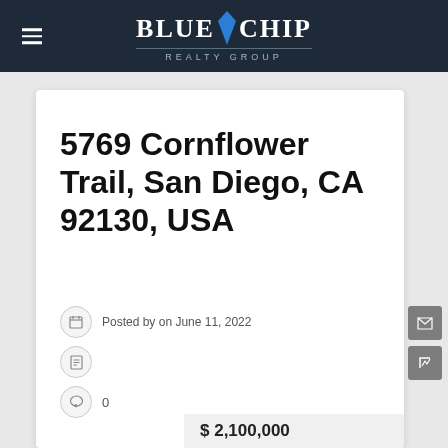Blue Chip Realty Group
5769 Cornflower Trail, San Diego, CA 92130, USA
Posted by on June 11, 2022
0
$ 2,100,000